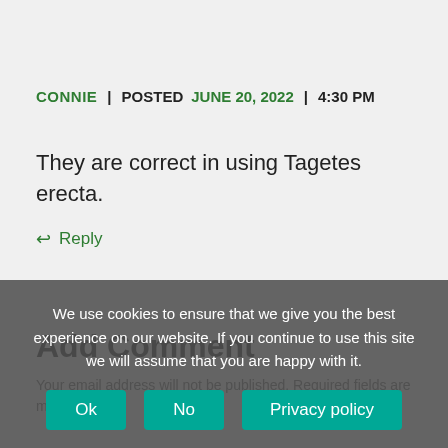CONNIE | POSTED JUNE 20, 2022 | 4:30 PM
They are correct in using Tagetes erecta.
↩ Reply
Add Comment
Your email address will not be published. Required fields are marked *
We use cookies to ensure that we give you the best experience on our website. If you continue to use this site we will assume that you are happy with it.
Ok   No   Privacy policy